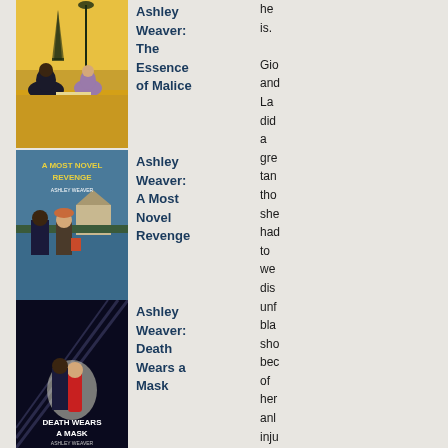[Figure (illustration): Book cover of 'The Essence of Malice' by Ashley Weaver, showing two figures seated at a table with Eiffel Tower in background, yellow/golden color scheme]
Ashley Weaver: The Essence of Malice
he is. Gio and La did a gre tan tho she had to we dis unf bla sho bec of her anl inju
[Figure (illustration): Book cover of 'A Most Novel Revenge' by Ashley Weaver, showing two figures near water, teal/blue color scheme]
Ashley Weaver: A Most Novel Revenge
[Figure (illustration): Book cover of 'Death Wears a Mask' by Ashley Weaver, showing a couple in evening wear, dark background]
Ashley Weaver: Death Wears a Mask